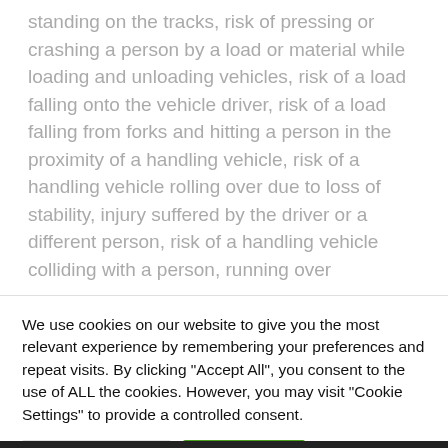standing on the tracks, risk of pressing or crashing a person by a load or material while loading and unloading vehicles, risk of a load falling onto the vehicle driver, risk of a load falling from forks and hitting a person in the proximity of a handling vehicle, risk of a handling vehicle rolling over due to loss of stability, injury suffered by the driver or a different person, risk of a handling vehicle colliding with a person, running over
We use cookies on our website to give you the most relevant experience by remembering your preferences and repeat visits. By clicking "Accept All", you consent to the use of ALL the cookies. However, you may visit "Cookie Settings" to provide a controlled consent.